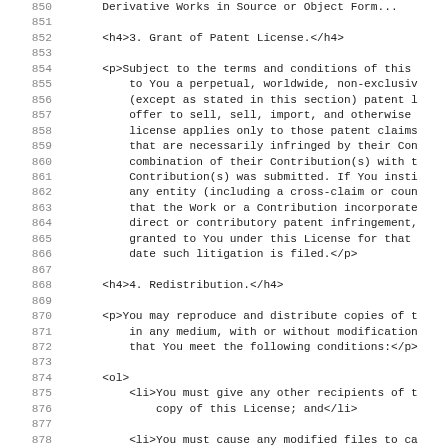850   Derivative Works in Source or Object Form...
851
852       <h4>3. Grant of Patent License.</h4>
853
854       <p>Subject to the terms and conditions of this
855           to You a perpetual, worldwide, non-exclusiv
856           (except as stated in this section) patent l
857           offer to sell, sell, import, and otherwise
858           license applies only to those patent claims
859           that are necessarily infringed by their Con
860           combination of their Contribution(s) with t
861           Contribution(s) was submitted. If You insti
862           any entity (including a cross-claim or coun
863           that the Work or a Contribution incorporate
864           direct or contributory patent infringement,
865           granted to You under this License for that
866           date such litigation is filed.</p>
867
868       <h4>4. Redistribution.</h4>
869
870       <p>You may reproduce and distribute copies of t
871           in any medium, with or without modification
872           that You meet the following conditions:</p>
873
874       <ol>
875           <li>You must give any other recipients of t
876               copy of this License; and</li>
877
878           <li>You must cause any modified files to ca
879               that You changed the files; and</li>
880
881           <li>You must retain, in the Source form of
882               distribute, all copyright, patent, trac